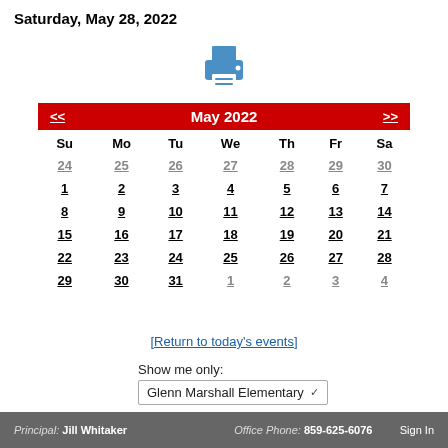Saturday, May 28, 2022
[Figure (illustration): Blue printer icon]
| Su | Mo | Tu | We | Th | Fr | Sa |
| --- | --- | --- | --- | --- | --- | --- |
| 24 | 25 | 26 | 27 | 28 | 29 | 30 |
| 1 | 2 | 3 | 4 | 5 | 6 | 7 |
| 8 | 9 | 10 | 11 | 12 | 13 | 14 |
| 15 | 16 | 17 | 18 | 19 | 20 | 21 |
| 22 | 23 | 24 | 25 | 26 | 27 | 28 |
| 29 | 30 | 31 | 1 | 2 | 3 | 4 |
[Return to today's events]
Show me only:
Glenn Marshall Elementary
Principal: Jill Whitaker   Office Phone: 859-625-6076   Sign In